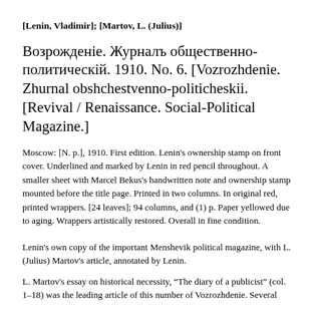[Lenin, Vladimir]; [Martov, L. (Julius)]
Возрожденіе. Журналъ общественно-политическій. 1910. No. 6. [Vozrozhdenie. Zhurnal obshchestvenno-politicheskii. [Revival / Renaissance. Social-Political Magazine.]
Moscow: [N. p.], 1910. First edition. Lenin's ownership stamp on front cover. Underlined and marked by Lenin in red pencil throughout. A smaller sheet with Marcel Bekus's handwritten note and ownership stamp mounted before the title page. Printed in two columns. In original red, printed wrappers. [24 leaves]; 94 columns, and (1) p. Paper yellowed due to aging. Wrappers artistically restored. Overall in fine condition.
Lenin's own copy of the important Menshevik political magazine, with L. (Julius) Martov's article, annotated by Lenin.
L. Martov's essay on historical necessity, “The diary of a publicist” (col. 1–18) was the leading article of this number of Vozrozhdenie. Several